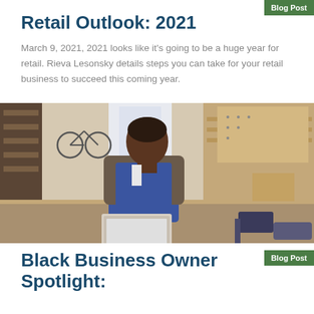Retail Outlook: 2021
Blog Post
March 9, 2021, 2021 looks like it's going to be a huge year for retail. Rieva Lesonsky details steps you can take for your retail business to succeed this coming year.
[Figure (photo): A Black man wearing a blue apron and plaid shirt works on a laptop in a woodworking workshop, surrounded by tools and wood materials.]
Blog Post
Black Business Owner Spotlight: